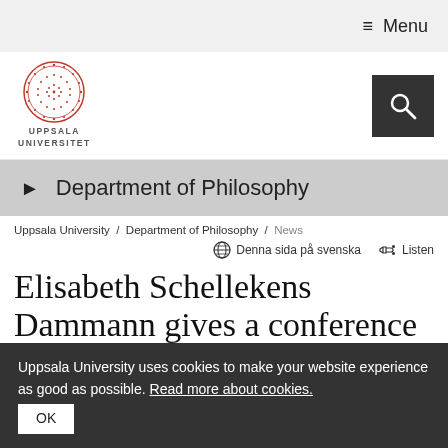≡ Menu
[Figure (logo): Uppsala Universitet logo — circular red seal with text UPPSALA UNIVERSITET below]
Department of Philosophy
Uppsala University / Department of Philosophy / News
Denna sida på svenska   Listen
Elisabeth Schellekens Dammann gives a conference talk at the Institute of Philosophy
Uppsala University uses cookies to make your website experience as good as possible. Read more about cookies.